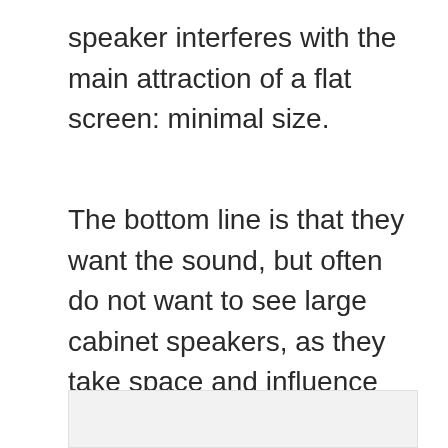speaker interferes with the main attraction of a flat screen: minimal size.
The bottom line is that they want the sound, but often do not want to see large cabinet speakers, as they take space and influence the home’s style or decor.
[Figure (other): Light gray rectangular image placeholder area at the bottom of the page]